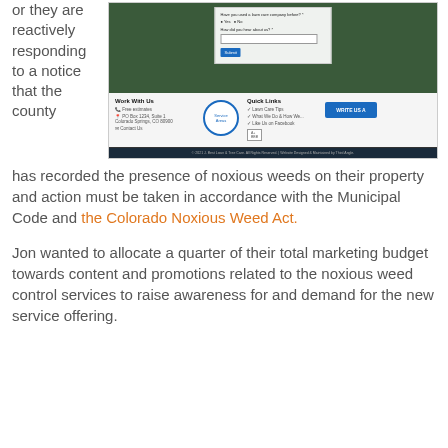or they are reactively responding to a notice that the county
[Figure (screenshot): Screenshot of a lawn care company website showing a contact form on a green outdoor background at top, and a footer section with 'Work With Us', 'Service Areas' circle graphic, 'Quick Links', and 'WRITE US A' button sections. Footer bar shows copyright text.]
has recorded the presence of noxious weeds on their property and action must be taken in accordance with the Municipal Code and the Colorado Noxious Weed Act.
Jon wanted to allocate a quarter of their total marketing budget towards content and promotions related to the noxious weed control services to raise awareness for and demand for the new service offering.